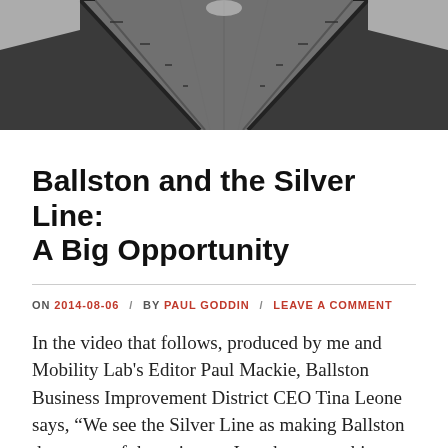[Figure (photo): Perspective view of a pedestrian bridge walkway with metal railings on both sides, leading toward a vanishing point. Black and white tones with overcast sky visible on the sides.]
Ballston and the Silver Line: A Big Opportunity
ON 2014-08-06 / BY PAUL GODDIN / LEAVE A COMMENT
In the video that follows, produced by me and Mobility Lab's Editor Paul Mackie, Ballston Business Improvement District CEO Tina Leone says, “We see the Silver Line as making Ballston the center of the universe. It makes everything